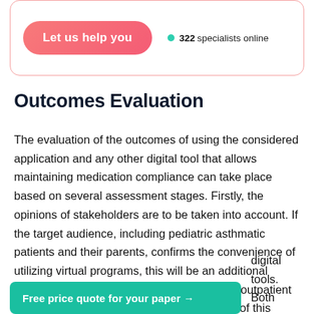[Figure (other): Card with a pink 'Let us help you' button and a teal dot indicator showing '322 specialists online']
Outcomes Evaluation
The evaluation of the outcomes of using the considered application and any other digital tool that allows maintaining medication compliance can take place based on several assessment stages. Firstly, the opinions of stakeholders are to be taken into account. If the target audience, including pediatric asthmatic patients and their parents, confirms the convenience of utilizing virtual programs, this will be an additional incentive to promote such a practice in both outpatient and inpatient settings. Secondly, the results of this usage need to be compared with those without such applications. Higher treatment outcomes compared with a traditional medication digital tools. Both
[Figure (other): Teal banner button reading 'Free price quote for your paper →']